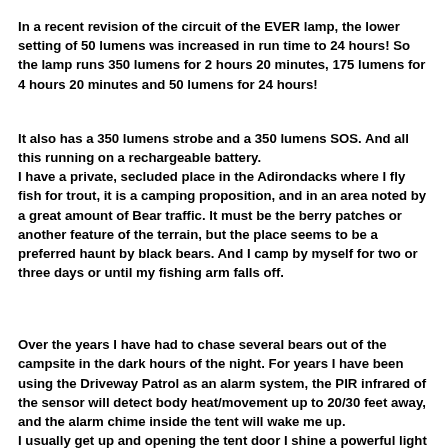In a recent revision of the circuit of the EVER lamp, the lower setting of 50 lumens was increased in run time to 24 hours! So the lamp runs 350 lumens for 2 hours 20 minutes, 175 lumens for 4 hours 20 minutes and 50 lumens for 24 hours!
It also has a 350 lumens strobe and a 350 lumens SOS. And all this running on a rechargeable battery. I have a private, secluded place in the Adirondacks where I fly fish for trout, it is a camping proposition, and in an area noted by a great amount of Bear traffic. It must be the berry patches or another feature of the terrain, but the place seems to be a preferred haunt by black bears. And I camp by myself for two or three days or until my fishing arm falls off.
Over the years I have had to chase several bears out of the campsite in the dark hours of the night. For years I have been using the Driveway Patrol as an alarm system, the PIR infrared of the sensor will detect body heat/movement up to 20/30 feet away, and the alarm chime inside the tent will wake me up. I usually get up and opening the tent door I shine a powerful light (a Borealis 1,150 lumens) and in a gruff voice I tell the intruder to get out.
It works until now, but I am well aware that one day a cross bear or a mother with cubs can give me trouble or try to make a meal out of me. So the new addition of the tactical light in the 50 lumens mode, permits me to flood the campsite area with light all night long, and still have battery juice for three more nights.